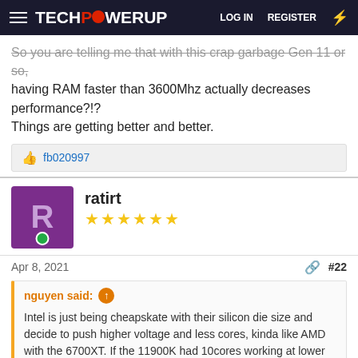TECHPOWERUP — LOG IN  REGISTER
So you are telling me that with this crap garbage Gen 11 or so, having RAM faster than 3600Mhz actually decreases performance?!?
Things are getting better and better.
👍 fb020997
ratirt
★★★★★★
Apr 8, 2021   #22
nguyen said:
Intel is just being cheapskate with their silicon die size and decide to push higher voltage and less cores, kinda like AMD with the 6700XT. If the 11900K had 10cores working at lower freq/voltage, it's efficiency would look way better in paper.
I understand you compare cpu to cpu like 10th to 11th gen Intel